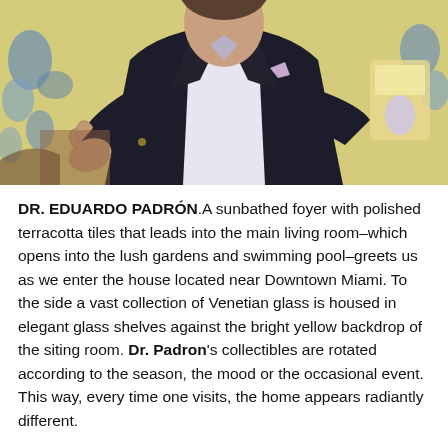[Figure (photo): Man in dark blazer with light purple pocket square, gesturing with hands, seated in front of a bright yellow backdrop with blue floral pattern and decorative objects visible in the background.]
DR. EDUARDO PADRÓN. A sunbathed foyer with polished terracotta tiles that leads into the main living room–which opens into the lush gardens and swimming pool–greets us as we enter the house located near Downtown Miami. To the side a vast collection of Venetian glass is housed in elegant glass shelves against the bright yellow backdrop of the siting room. Dr. Padron's collectibles are rotated according to the season, the mood or the occasional event. This way, every time one visits, the home appears radiantly different.
A copious collection of artifacts, fixtures and art